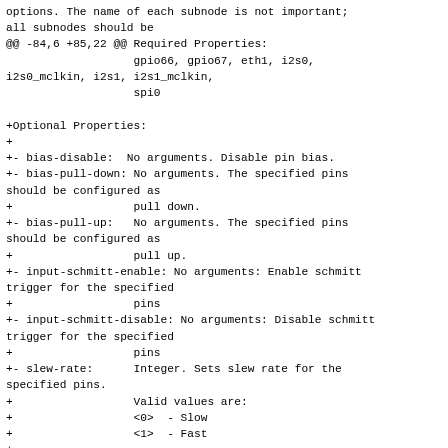options. The name of each subnode is not important;
all subnodes should be
@@ -84,6 +85,22 @@ Required Properties:
                   gpio66, gpio67, eth1, i2s0,
i2s0_mclkin, i2s1, i2s1_mclkin,
                   spi0

+Optional Properties:
+
+- bias-disable:  No arguments. Disable pin bias.
+- bias-pull-down: No arguments. The specified pins
should be configured as
+                  pull down.
+- bias-pull-up:   No arguments. The specified pins
should be configured as
+                  pull up.
+- input-schmitt-enable: No arguments: Enable schmitt
trigger for the specified
+                  pins
+- input-schmitt-disable: No arguments: Disable schmitt
trigger for the specified
+                  pins
+- slew-rate:      Integer. Sets slew rate for the
specified pins.
+                  Valid values are:
+                  <0>  - Slow
+                  <1>  - Fast
+
 Example:
        pinctrl: pinctrl@400 {